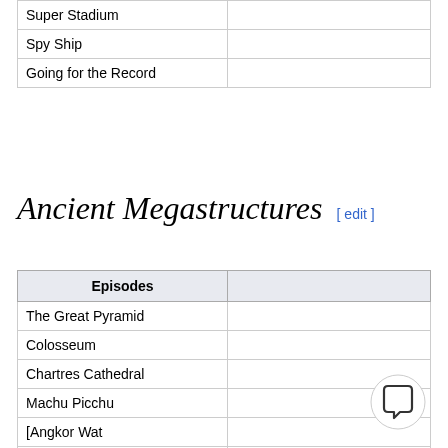| Episodes |  |
| --- | --- |
| Super Stadium |  |
| Spy Ship |  |
| Going for the Record |  |
Ancient Megastructures [edit]
| Episodes |  |
| --- | --- |
| The Great Pyramid |  |
| Colosseum |  |
| Chartres Cathedral |  |
| Machu Picchu |  |
| [Angkor Wat |  |
| Istanbul's Hagia Sophia |  |
| The Alhambra |  |
| Petra |  |